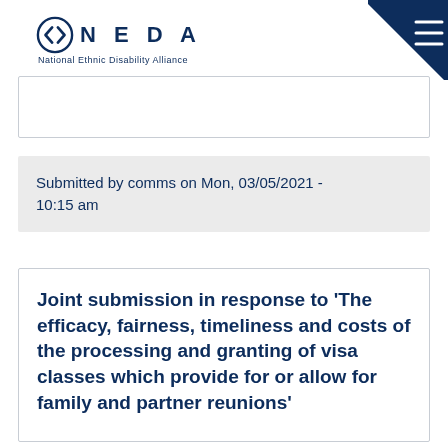NEDA National Ethnic Disability Alliance
Submitted by comms on Mon, 03/05/2021 - 10:15 am
Joint submission in response to 'The efficacy, fairness, timeliness and costs of the processing and granting of visa classes which provide for or allow for family and partner reunions'